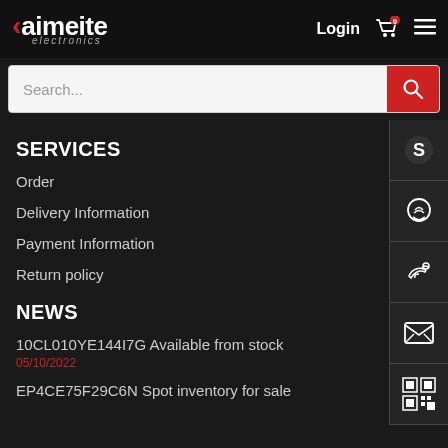[Figure (logo): Kaimeite electronics logo — white angular text with red dot, italic 'electronics' subtitle]
Login
[Figure (other): Shopping cart icon with red badge showing 0]
[Figure (other): Hamburger menu icon]
[Figure (other): Search bar with placeholder 'Search...' and red search button]
SERVICES
Order
Delivery Information
Payment Information
Return policy
[Figure (other): Sidebar with Skype, WhatsApp, phone, email, and QR code contact icons]
NEWS
10CL010YE144I7G Available from stock
05/10/2022
EP4CE75F29C6N Spot inventory for sale